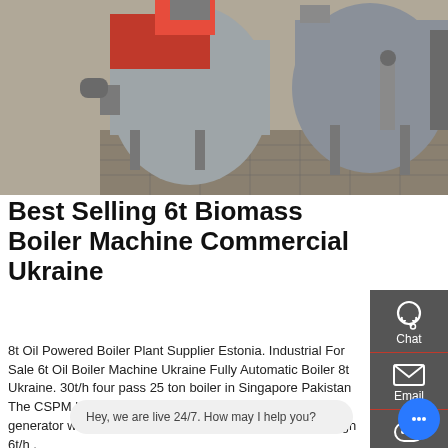[Figure (photo): Industrial boiler machines in a factory/warehouse setting, showing red and grey boilers with piping and equipment on a concrete floor]
Best Selling 6t Biomass Boiler Machine Commercial Ukraine
8t Oil Powered Boiler Plant Supplier Estonia. Industrial For Sale 6t Oil Boiler Machine Ukraine Fully Automatic Boiler 8t Ukraine. 30t/h four pass 25 ton boiler in Singapore Pakistan The CSPM boiler is a three-pass horizontal fire-tube steam generator with a furnace designed for Biomass.once through 6t/h .
Learn More
[Figure (screenshot): WhatsApp icon with green background and Contact us now! button overlay, plus industrial boiler facility photo in background]
Chat
Email
Contact
Hey, we are live 24/7. How may I help you?